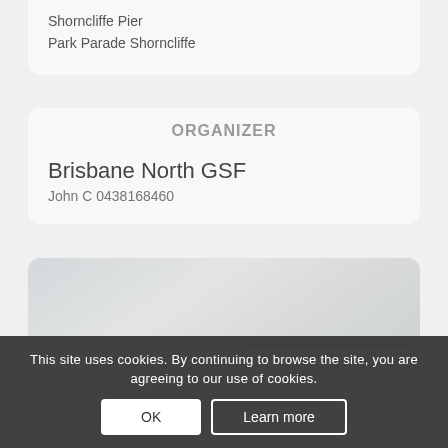Shorncliffe Pier
Park Parade Shorncliffe
ORGANIZER
Brisbane North GSF
John C 0438168460
[Figure (map): A grey map placeholder showing a street map area near Shorncliffe]
This site uses cookies. By continuing to browse the site, you are agreeing to our use of cookies.